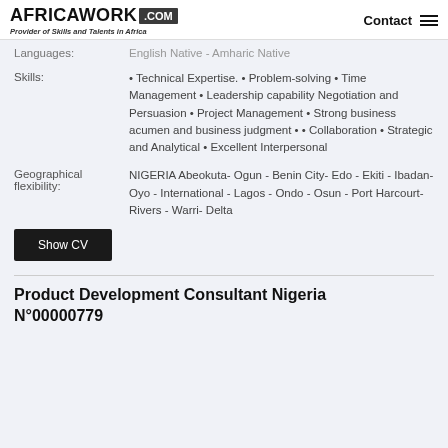AFRICAWORK .COM - Provider of Skills and Talents in Africa
Languages: English Native - Amharic Native
Skills: • Technical Expertise. • Problem-solving • Time Management • Leadership capability Negotiation and Persuasion • Project Management • Strong business acumen and business judgment • • Collaboration • Strategic and Analytical • Excellent Interpersonal
Geographical flexibility: NIGERIA Abeokuta- Ogun - Benin City- Edo - Ekiti - Ibadan- Oyo - International - Lagos - Ondo - Osun - Port Harcourt- Rivers - Warri- Delta
Show CV
Product Development Consultant Nigeria N°00000779